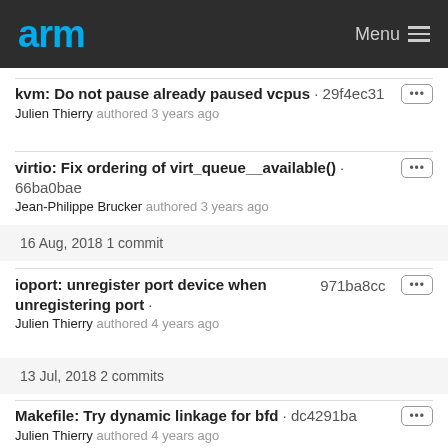arm  Menu
kvm: Do not pause already paused vcpus · 29f4ec31
Julien Thierry authored 3 years ago
virtio: Fix ordering of virt_queue__available() · 66ba0bae
Jean-Philippe Brucker authored 3 years ago
16 Aug, 2018 1 commit
ioport: unregister port device when unregistering port · 971ba8cc
Julien Thierry authored 4 years ago
13 Jul, 2018 2 commits
Makefile: Try dynamic linkage for bfd · dc4291ba
Julien Thierry authored 4 years ago
Makefile: fix skipped dependencies · 58ba12ba
Julien Thierry authored 4 years ago